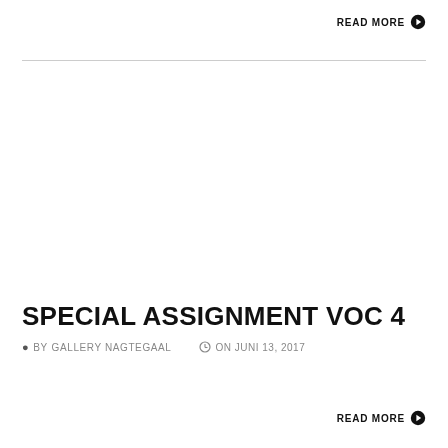READ MORE ▶
SPECIAL ASSIGNMENT VOC 4
BY GALLERY NAGTEGAAL   ON JUNI 13, 2017
READ MORE ▶